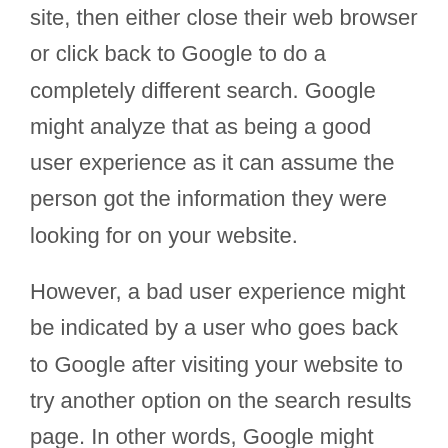site, then either close their web browser or click back to Google to do a completely different search. Google might analyze that as being a good user experience as it can assume the person got the information they were looking for on your website.
However, a bad user experience might be indicated by a user who goes back to Google after visiting your website to try another option on the search results page. In other words, Google might assume the user failed to get the information they needed on your site.
So, it's important to optimize your site for user experience. Some things you need to consider